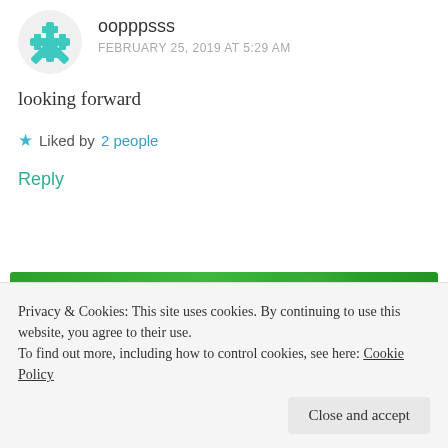[Figure (illustration): Teal/green snowflake avatar icon for user oopppsss]
oopppsss
FEBRUARY 25, 2019 AT 5:29 AM
looking forward
★ Liked by 2 people
Reply
[Figure (screenshot): Jetpack advertisement banner with green background, Jetpack logo and bolt icon on left, and 'Back up your site' button on right]
REPORT THIS AD
Privacy & Cookies: This site uses cookies. By continuing to use this website, you agree to their use.
To find out more, including how to control cookies, see here: Cookie Policy
Close and accept